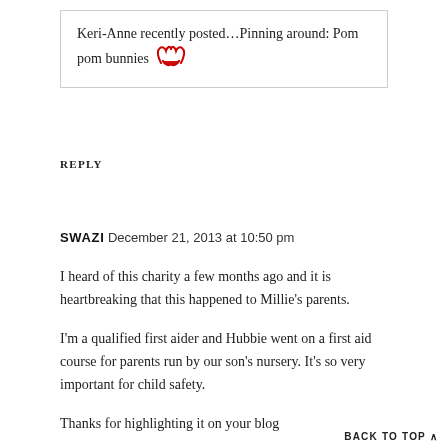Keri-Anne recently posted…Pinning around: Pom pom bunnies 🐦
REPLY
SWAZI December 21, 2013 at 10:50 pm
I heard of this charity a few months ago and it is heartbreaking that this happened to Millie's parents.

I'm a qualified first aider and Hubbie went on a first aid course for parents run by our son's nursery. It's so very important for child safety.

Thanks for highlighting it on your blog.
BACK TO TOP